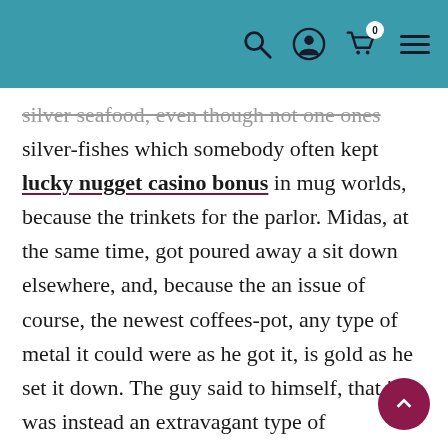Navigation bar with search, account, cart (0 items), and menu icons
silver seafood, even though not one ones silver-fishes which somebody often kept lucky nugget casino bonus in mug worlds, because the trinkets for the parlor. Midas, at the same time, got poured away a sit down elsewhere, and, because the an issue of course, the newest coffees-pot, any type of metal it could were as he got it, is gold as he set it down. The guy said to himself, that it was instead an extravagant type of grandeur, within the a king of his easy models, to help you morning meal from a